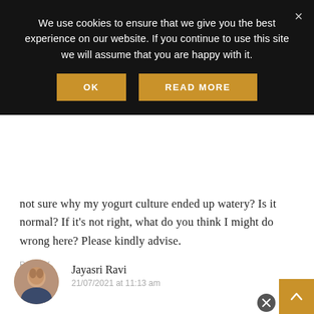We use cookies to ensure that we give you the best experience on our website. If you continue to use this site we will assume that you are happy with it.
OK | READ MORE
not sure why my yogurt culture ended up watery? Is it normal? If it's not right, what do you think I might do wrong here? Please kindly advise.
REPLY
Jayasri Ravi
21/07/2021 at 11:13 am
Basically, Milk has water content in it, when you make yogurt it will have water content. If you don't want any water at all, boil the milk for some more time water gets evaporated and